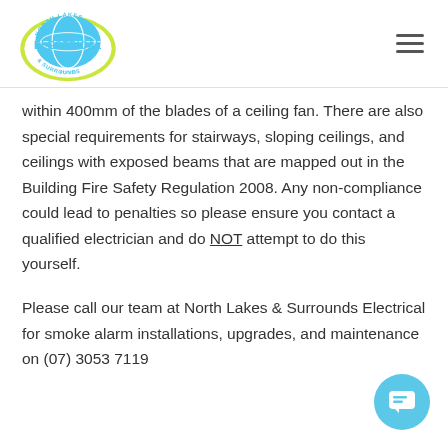[Figure (logo): North Lakes Electrical & Surrounds logo — circular badge with blue globe and green/yellow border, 'ELECTRICAL' in cyan text]
within 400mm of the blades of a ceiling fan. There are also special requirements for stairways, sloping ceilings, and ceilings with exposed beams that are mapped out in the Building Fire Safety Regulation 2008. Any non-compliance could lead to penalties so please ensure you contact a qualified electrician and do NOT attempt to do this yourself.
Please call our team at North Lakes & Surrounds Electrical for smoke alarm installations, upgrades, and maintenance on (07) 3053 7119